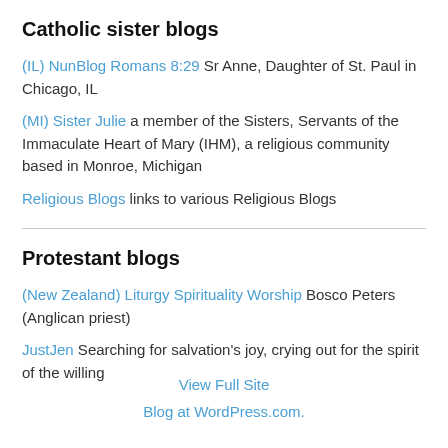Catholic sister blogs
(IL) NunBlog Romans 8:29 Sr Anne, Daughter of St. Paul in Chicago, IL
(MI) Sister Julie a member of the Sisters, Servants of the Immaculate Heart of Mary (IHM), a religious community based in Monroe, Michigan
Religious Blogs links to various Religious Blogs
Protestant blogs
(New Zealand) Liturgy Spirituality Worship Bosco Peters (Anglican priest)
JustJen Searching for salvation's joy, crying out for the spirit of the willing
View Full Site
Blog at WordPress.com.